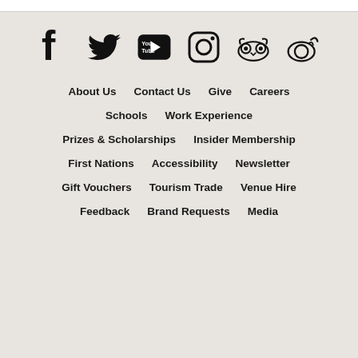[Figure (other): Row of social media icons: Facebook, Twitter, YouTube, Instagram, TripAdvisor, Weibo]
About Us
Contact Us
Give
Careers
Schools
Work Experience
Prizes & Scholarships
Insider Membership
First Nations
Accessibility
Newsletter
Gift Vouchers
Tourism Trade
Venue Hire
Feedback
Brand Requests
Media